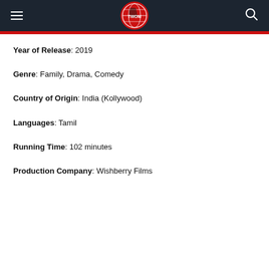TWOM logo header with hamburger menu and search icon
Year of Release: 2019
Genre: Family, Drama, Comedy
Country of Origin: India (Kollywood)
Languages: Tamil
Running Time: 102 minutes
Production Company: Wishberry Films